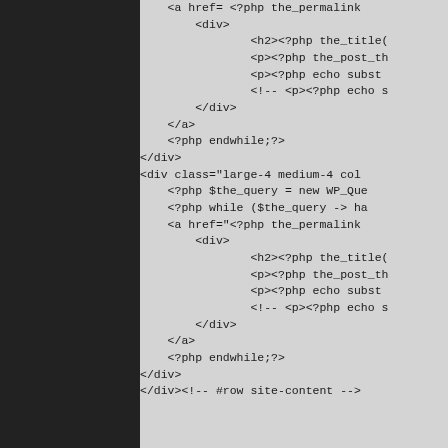Code snippet showing PHP/HTML template with WordPress loop structure including div elements, h2 tags, p tags, comments, endwhile, and div class large-4 medium-4 col with WP_Query